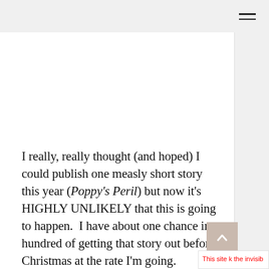[Figure (other): Hamburger menu icon — two horizontal lines in upper right corner]
I really, really thought (and hoped) I could publish one measly short story this year (Poppy's Peril) but now it's HIGHLY UNLIKELY that this is going to happen.  I have about one chance in a hundred of getting that story out before Christmas at the rate I'm going.
[Figure (other): Scroll-to-top button — beige/tan square with white upward chevron arrow]
This site k the invisib